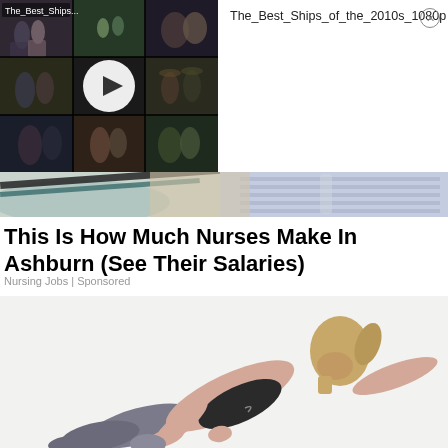[Figure (screenshot): Video thumbnail grid showing multiple romantic/drama TV show scenes with a play button overlay, labeled 'The_Best_Ships...']
The_Best_Ships_of_the_2010s_1080p
[Figure (photo): Close-up of athletic shoes and clothing in blue, teal, and tan colors]
This Is How Much Nurses Make In Ashburn (See Their Salaries)
Nursing Jobs | Sponsored
[Figure (photo): Woman in fitness/yoga attire doing a stretching/plank exercise pose against white background]